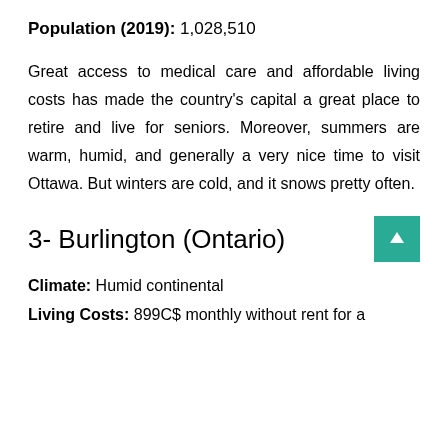Population (2019): 1,028,510
Great access to medical care and affordable living costs has made the country's capital a great place to retire and live for seniors. Moreover, summers are warm, humid, and generally a very nice time to visit Ottawa. But winters are cold, and it snows pretty often.
3- Burlington (Ontario)
Climate: Humid continental
Living Costs: 899C$ monthly without rent for a